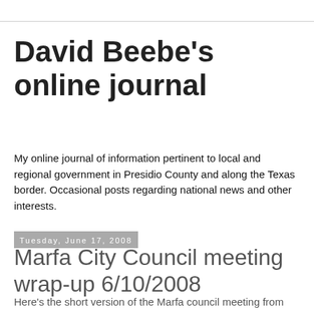David Beebe's online journal
My online journal of information pertinent to local and regional government in Presidio County and along the Texas border. Occasional posts regarding national news and other interests.
Tuesday, June 17, 2008
Marfa City Council meeting wrap-up 6/10/2008
Here's the short version of the Marfa council meeting from 6/10
All members present minus Rudy Garcia.